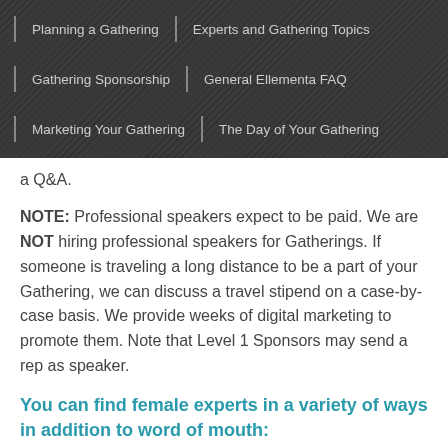Planning a Gathering | Experts and Gathering Topics | Gathering Sponsorship | General Ellementa FAQ | Marketing Your Gathering | The Day of Your Gathering
a Q&A.
NOTE: Professional speakers expect to be paid. We are NOT hiring professional speakers for Gatherings. If someone is traveling a long distance to be a part of your Gathering, we can discuss a travel stipend on a case-by-case basis. We provide weeks of digital marketing to promote them. Note that Level 1 Sponsors may send a rep as speaker.
You can find female experts in a variety of ways in addition to word of mouth: